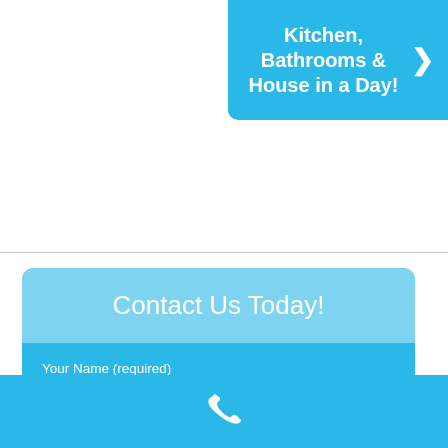[Figure (infographic): Cyan banner in top-right corner with bold white text 'Kitchen, Bathrooms & House in a Day!' and a right-arrow chevron]
Contact Us Today!
Your Name (required)
Your Email (required)
Your Phone (required)
[Figure (illustration): Cyan footer bar with a white telephone handset icon centered]